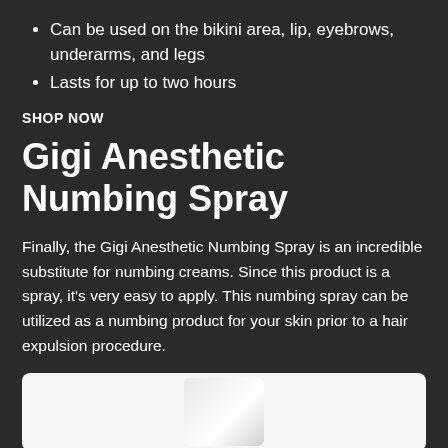Can be used on the bikini area, lip, eyebrows, underarms, and legs
Lasts for up to two hours
SHOP NOW
Gigi Anesthetic Numbing Spray
Finally, the Gigi Anesthetic Numbing Spray is an incredible substitute for numbing creams. Since this product is a spray, it's very easy to apply. This numbing spray can be utilized as a numbing product for your skin prior to a hair expulsion procedure.
[Figure (photo): Product image of Gigi Anesthetic Numbing Spray on white background]